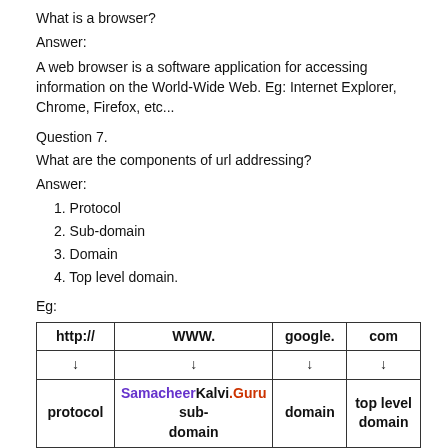What is a browser?
Answer:
A web browser is a software application for accessing information on the World-Wide Web. Eg: Internet Explorer, Chrome, Firefox, etc...
Question 7.
What are the components of url addressing?
Answer:
1. Protocol
2. Sub-domain
3. Domain
4. Top level domain.
Eg:
[Figure (table-as-image): URL components diagram showing http:// → protocol, WWW. → sub-domain, google. → domain, com → top level domain with SamacheerKalvi.Guru watermark]
Question 8.